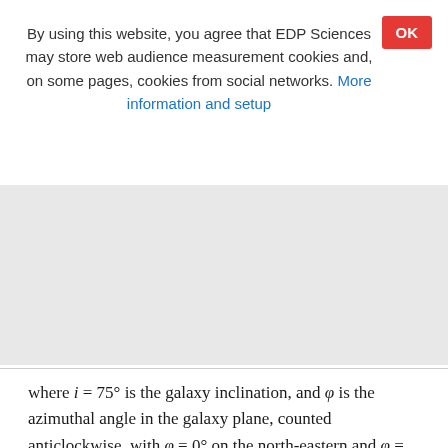By using this website, you agree that EDP Sciences may store web audience measurement cookies and, on some pages, cookies from social networks. More information and setup
OK
where i = 75° is the galaxy inclination, and φ is the azimuthal angle in the galaxy plane, counted anticlockwise, with φ = 0° on the north-eastern and φ = 180° on the south-western major axis of the ring (see Fig. 19). For a constant CRE density, constant strength of the ordered field, ...